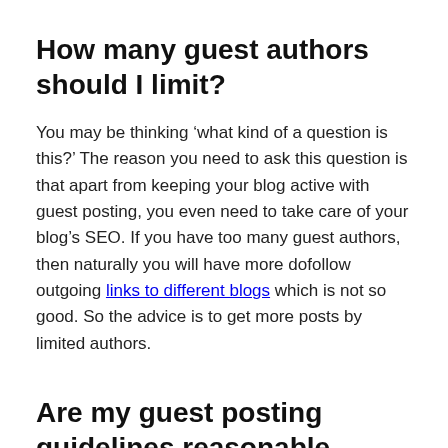How many guest authors should I limit?
You may be thinking ‘what kind of a question is this?’ The reason you need to ask this question is that apart from keeping your blog active with guest posting, you even need to take care of your blog’s SEO. If you have too many guest authors, then naturally you will have more dofollow outgoing links to different blogs which is not so good. So the advice is to get more posts by limited authors.
Are my guest posting guidelines reasonable enough?